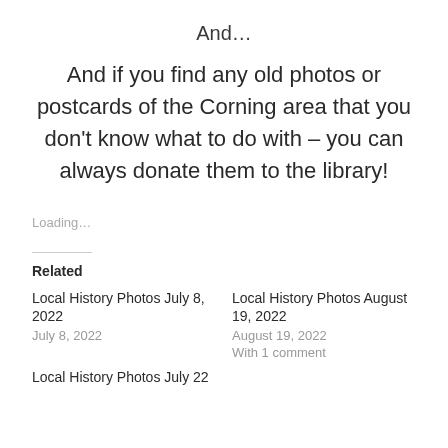And…
And if you find any old photos or postcards of the Corning area that you don't know what to do with – you can always donate them to the library!
Loading…
Related
Local History Photos July 8, 2022
July 8, 2022
Local History Photos August 19, 2022
August 19, 2022
With 1 comment
Local History Photos July 22